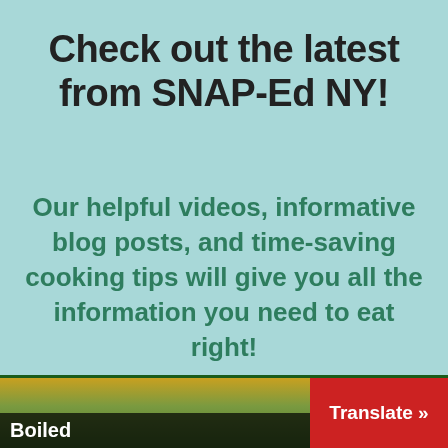Check out the latest from SNAP-Ed NY!
Our helpful videos, informative blog posts, and time-saving cooking tips will give you all the information you need to eat right!
[Figure (screenshot): Bottom strip showing a partial image with 'Boiled' text on dark overlay with yellow banner at top, a green area, and a red 'Translate »' button on the right.]